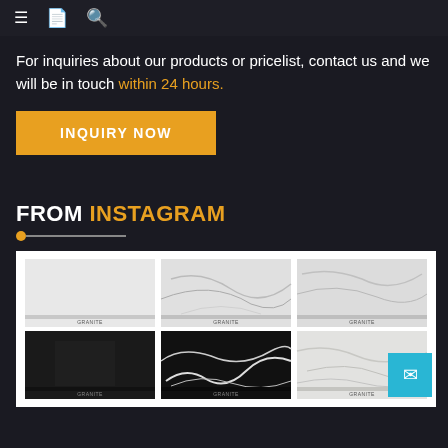Navigation bar with menu, logo, and search icons
For inquiries about our products or pricelist, contact us and we will be in touch within 24 hours.
INQUIRY NOW
FROM INSTAGRAM
[Figure (photo): 3x3 grid of marble and stone tile product images on white background, showing various marble textures including white, black with white veining, and grey marble patterns.]